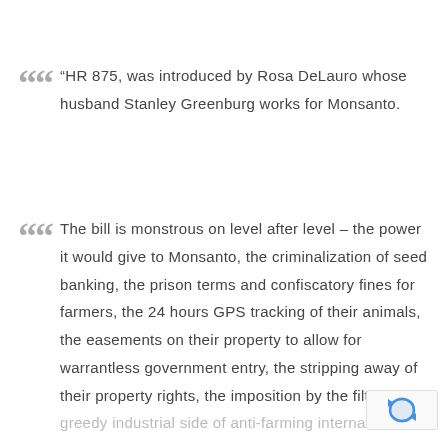“HR 875, was introduced by Rosa DeLauro whose husband Stanley Greenburg works for Monsanto.
The bill is monstrous on level after level – the power it would give to Monsanto, the criminalization of seed banking, the prison terms and confiscatory fines for farmers, the 24 hours GPS tracking of their animals, the easements on their property to allow for warrantless government entry, the stripping away of their property rights, the imposition by the filthy, greedy industrial side of anti-farming international.